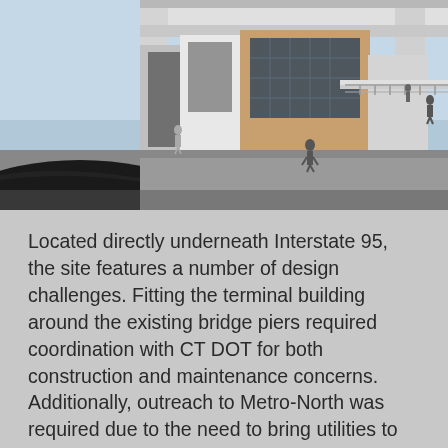[Figure (illustration): Architectural rendering of a transit terminal building located underneath Interstate 95, showing bridge piers, pedestrian walkways, modern building facade with glass and steel, and silhouettes of people walking, with a curved roadway in the foreground.]
Located directly underneath Interstate 95, the site features a number of design challenges. Fitting the terminal building around the existing bridge piers required coordination with CT DOT for both construction and maintenance concerns. Additionally, outreach to Metro-North was required due to the need to bring utilities to the site underneath an existing railroad bridge without disturbing the stone